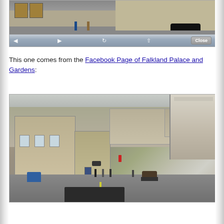[Figure (screenshot): A mobile browser screenshot showing an old street scene with a vintage black car and people, with browser navigation controls (back, forward, refresh, share, Close button) at the bottom of the screenshot.]
This one comes from the Facebook Page of Falkland Palace and Gardens:
[Figure (photo): An aerial/elevated view of Falkland, Scotland, showing stone buildings, a street with period vehicles and people, film crew equipment (blue tent, various props), and a stone parapet in the foreground right. The photo appears to be taken from the walls of Falkland Palace during filming of a period drama.]